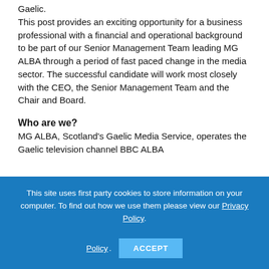Gaelic.
This post provides an exciting opportunity for a business professional with a financial and operational background to be part of our Senior Management Team leading MG ALBA through a period of fast paced change in the media sector. The successful candidate will work most closely with the CEO, the Senior Management Team and the Chair and Board.
Who are we?
MG ALBA, Scotland's Gaelic Media Service, operates the Gaelic television channel BBC ALBA
This site uses first party cookies to store information on your computer. To find out how we use them please view our Privacy Policy.
ACCEPT